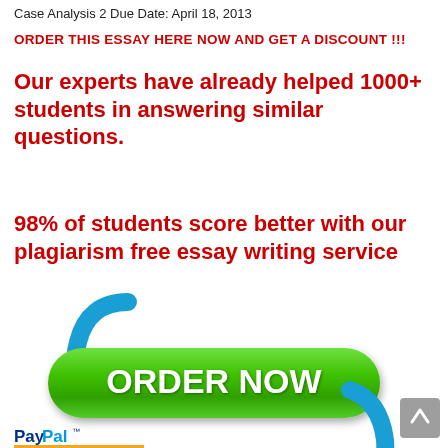Case Analysis 2 Due Date: April 18, 2013
ORDER THIS ESSAY HERE NOW AND GET A DISCOUNT !!!
Our experts have already helped 1000+ students in answering similar questions.
98% of students score better with our plagiarism free essay writing service
[Figure (illustration): Green ORDER NOW button with blue circular arrows around it, and a PayPal logo at the bottom with an orange underline bar. A grey scroll-to-top button is in the bottom right.]